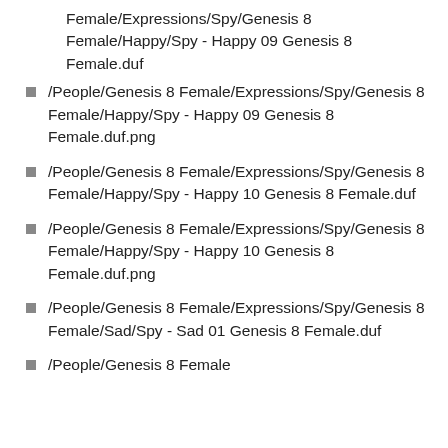Female/Expressions/Spy/Genesis 8 Female/Happy/Spy - Happy 09 Genesis 8 Female.duf
/People/Genesis 8 Female/Expressions/Spy/Genesis 8 Female/Happy/Spy - Happy 09 Genesis 8 Female.duf.png
/People/Genesis 8 Female/Expressions/Spy/Genesis 8 Female/Happy/Spy - Happy 10 Genesis 8 Female.duf
/People/Genesis 8 Female/Expressions/Spy/Genesis 8 Female/Happy/Spy - Happy 10 Genesis 8 Female.duf.png
/People/Genesis 8 Female/Expressions/Spy/Genesis 8 Female/Sad/Spy - Sad 01 Genesis 8 Female.duf
/People/Genesis 8 Female